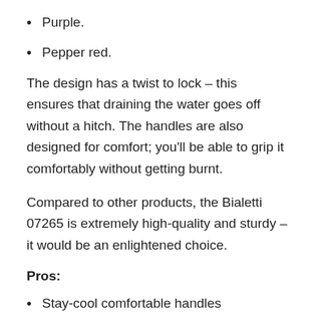Purple.
Pepper red.
The design has a twist to lock – this ensures that draining the water goes off without a hitch. The handles are also designed for comfort; you'll be able to grip it comfortably without getting burnt.
Compared to other products, the Bialetti 07265 is extremely high-quality and sturdy – it would be an enlightened choice.
Pros:
Stay-cool comfortable handles